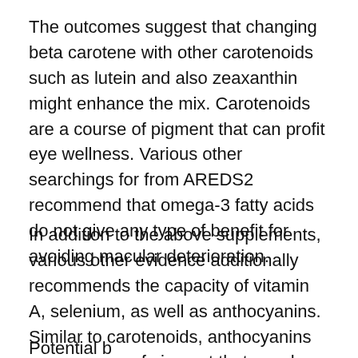The outcomes suggest that changing beta carotene with other carotenoids such as lutein and also zeaxanthin might enhance the mix. Carotenoids are a course of pigment that can profit eye wellness. Various other searchings for from AREDS2 recommend that omega-3 fatty acids do not give any type of benefit for avoiding macular deterioration.
In addition to the above supplements, various other evidence additionally recommends the capacity of vitamin A, selenium, as well as anthocyanins. Similar to carotenoids, anthocyanins are a course of pigment that may be beneficial for eye health and wellness.
Potential b...